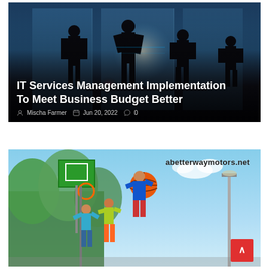[Figure (photo): Business professionals silhouetted against bright office windows with blue digital overlay effects]
IT Services Management Implementation To Meet Business Budget Better
Mischa Farmer  Jun 20, 2022  0
[Figure (photo): Children playing basketball outdoors with green trees and blue sky background. Text overlay: abetterwaymotors.net]